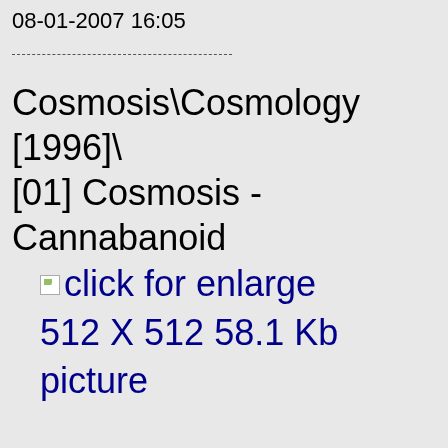08-01-2007 16:05
Cosmosis\Cosmology [1996]\ [01] Cosmosis - Cannabanoid
click for enlarge 512 X 512 58.1 Kb picture